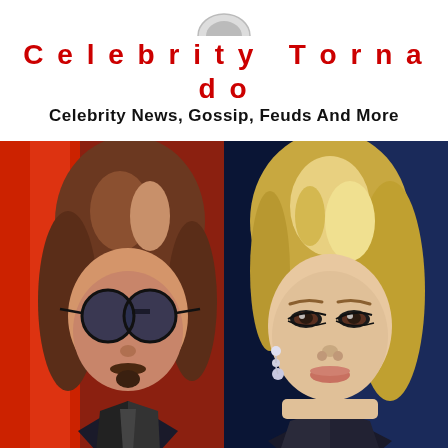Celebrity Tornado
Celebrity News, Gossip, Feuds And More
[Figure (photo): Two celebrities side by side: a man with long brown hair, round sunglasses, goatee, wearing a dark suit on the left, and a blonde woman with dramatic eye makeup and dangling earrings on the right, against colorful backgrounds]
Gossip & Rumors